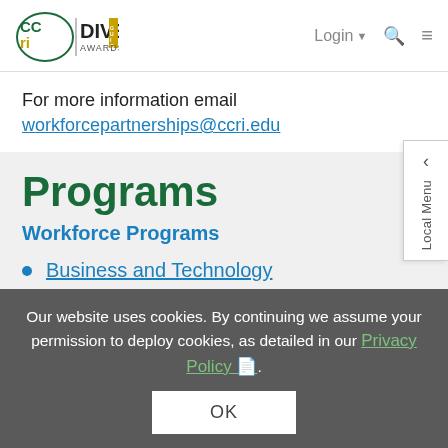[Figure (logo): CCRI and DIVE Awards logo with navigation bar including Login, search, and menu icons]
For more information email workforcepartnerships@ccri.edu
Programs
Workforce Programs
Business and Technology
Education
Our website uses cookies. By continuing we assume your permission to deploy cookies, as detailed in our Privacy Policy.
OK